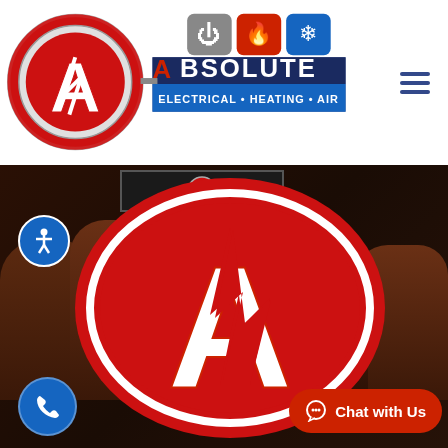[Figure (logo): Absolute Electrical Heating Air company logo with red circular A emblem and blue/red/grey text reading ABSOLUTE ELECTRICAL · HEATING · AIR with service icons for electrical, heating, and cooling]
[Figure (photo): Hero section with dark background showing Absolute company team members in red uniforms standing in front of company building, with large red Absolute logo overlay, accessibility button, call button, and Chat with Us button]